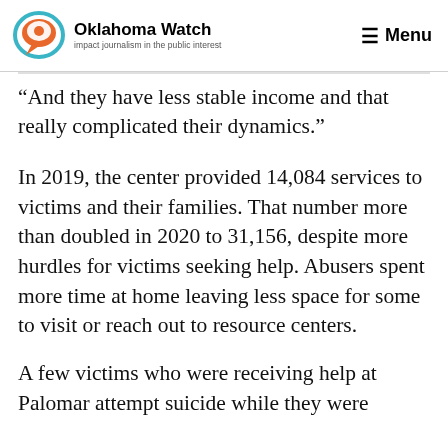Oklahoma Watch — impact journalism in the public interest | Menu
“And they have less stable income and that really complicated their dynamics.”
In 2019, the center provided 14,084 services to victims and their families. That number more than doubled in 2020 to 31,156, despite more hurdles for victims seeking help. Abusers spent more time at home leaving less space for some to visit or reach out to resource centers.
A few victims who were receiving help at Palomar attempt suicide while they were